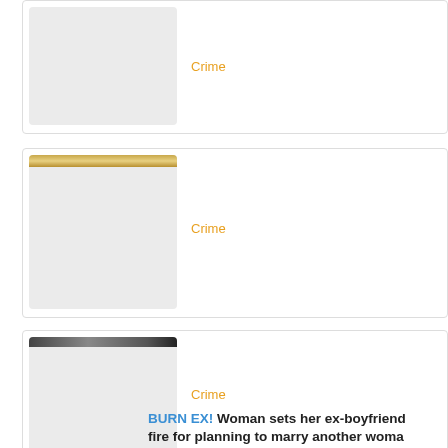[Figure (photo): News card 1 with a thumbnail image placeholder and Crime category label]
Crime
[Figure (photo): News card 2 with a thumbnail image showing golden/yellow tones at top and Crime category label]
Crime
[Figure (photo): News card 3 with a thumbnail image showing dark tones at top and Crime category label]
Crime
BURN EX! Woman sets her ex-boyfriend fire for planning to marry another woman